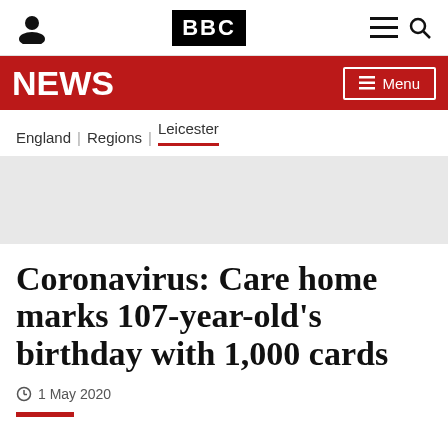BBC News
NEWS | Menu
England | Regions | Leicester
[Figure (other): Gray placeholder image area]
Coronavirus: Care home marks 107-year-old's birthday with 1,000 cards
1 May 2020